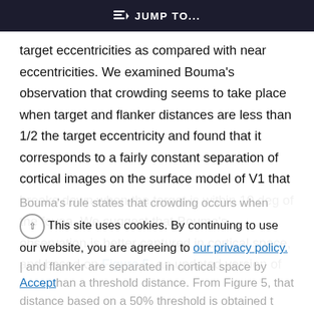JUMP TO...
target eccentricities as compared with near eccentricities. We examined Bouma's observation that crowding seems to take place when target and flanker distances are less than 1/2 the target eccentricity and found that it corresponds to a fairly constant separation of cortical images on the surface model of V1 that breaks down when the target is within 10 deg of the fovea. We suggest that Bouma's observation is better captured in cortical space, and based on Figure 5, an updated version of
This site uses cookies. By continuing to use our website, you are agreeing to our privacy policy. Accept